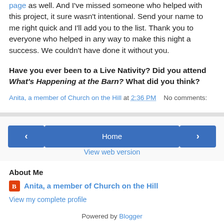page as well. And I've missed someone who helped with this project, it sure wasn't intentional. Send your name to me right quick and I'll add you to the list. Thank you to everyone who helped in any way to make this night a success. We couldn't have done it without you.
Have you ever been to a Live Nativity? Did you attend What's Happening at the Barn? What did you think?
Anita, a member of Church on the Hill at 2:36 PM   No comments:
[Figure (other): Navigation buttons: left arrow, Home, right arrow]
View web version
About Me
Anita, a member of Church on the Hill
View my complete profile
Powered by Blogger